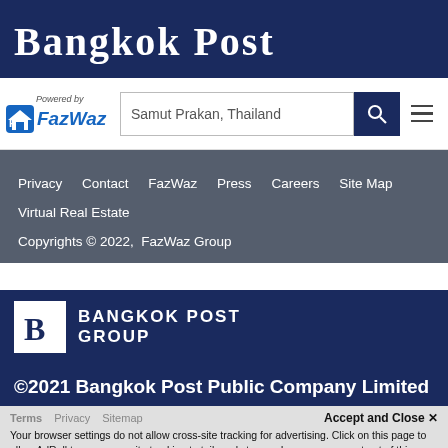Bangkok Post
[Figure (logo): FazWaz logo with house icon and search bar showing 'Samut Prakan, Thailand', search button, and hamburger menu]
Privacy   Contact   FazWaz   Press   Careers   Site Map
Virtual Real Estate
Copyrights © 2022,  FazWaz Group
[Figure (logo): Bangkok Post Group logo with blackletter B in white box and BANGKOK POST GROUP text]
©2021 Bangkok Post Public Company Limited
Your browser settings do not allow cross-site tracking for advertising. Click on this page to allow AdRoll to use cross-site tracking to tailor ads to you. Learn more or opt out of this AdRoll tracking by clicking here. This message only appears once.